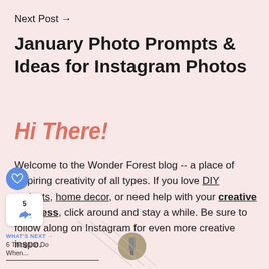Next Post →
January Photo Prompts & Ideas for Instagram Photos
Hi There!
Welcome to the Wonder Forest blog -- a place of inspiring creativity of all types. If you love DIY projects, home decor, or need help with your creative business, click around and stay a while. Be sure to follow along on Instagram for even more creative inspo.